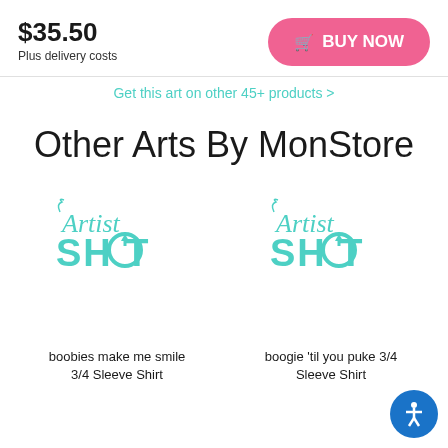$35.50
Plus delivery costs
BUY NOW
Get this art on other 45+ products >
Other Arts By MonStore
[Figure (logo): Artist Shot logo in teal/mint color]
[Figure (logo): Artist Shot logo in teal/mint color]
boobies make me smile 3/4 Sleeve Shirt
boogie 'til you puke 3/4 Sleeve Shirt